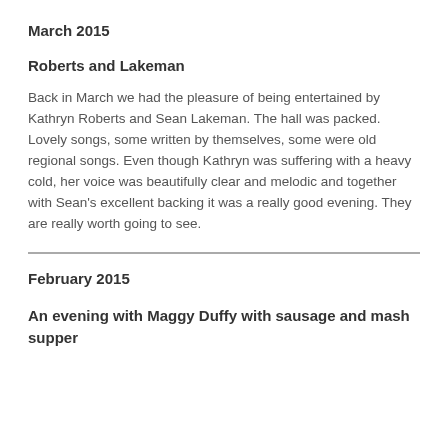March 2015
Roberts and Lakeman
Back in March we had the pleasure of being entertained by Kathryn Roberts and Sean Lakeman. The hall was packed. Lovely songs, some written by themselves, some were old regional songs. Even though Kathryn was suffering with a heavy cold, her voice was beautifully clear and melodic and together with Sean's excellent backing it was a really good evening. They are really worth going to see.
February 2015
An evening with Maggy Duffy with sausage and mash supper